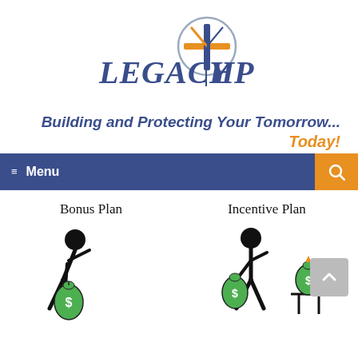[Figure (logo): Legacy HP logo with compass-style star icon above the text LEGACY HP in dark blue serif font]
Building and Protecting Your Tomorrow... Today!
Menu
[Figure (illustration): Two illustrations side by side: left shows 'Bonus Plan' with a stick figure holding a money bag; right shows 'Incentive Plan' with a stick figure running while carrying money bags, with an additional money bag on a pedestal]